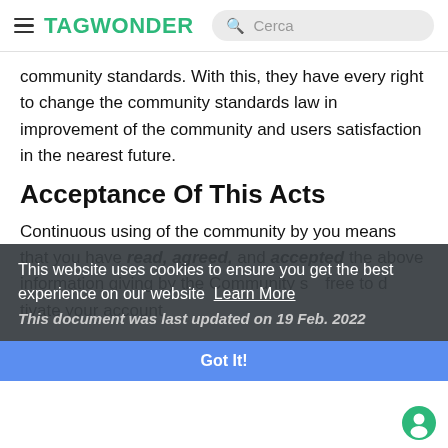TAGWONDER
community standards. With this, they have every right to change the community standards law in improvement of the community and users satisfaction in the nearest future.
Acceptance Of This Acts
Continuous using of the community by you means that you have read, agreed, and accepted the above information giving by the Community s... free to d...tivate your account.
This website uses cookies to ensure you get the best experience on our website Learn More
This document was last updated on 19 Feb. 2022
Got It!